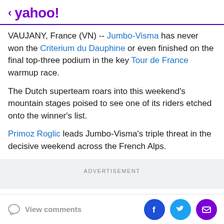< yahoo!
VAUJANY, France (VN) -- Jumbo-Visma has never won the Criterium du Dauphine or even finished on the final top-three podium in the key Tour de France warmup race.
The Dutch superteam roars into this weekend's mountain stages poised to see one of its riders etched onto the winner's list.
Primoz Roglic leads Jumbo-Visma's triple threat in the decisive weekend across the French Alps.
ADVERTISEMENT
View comments